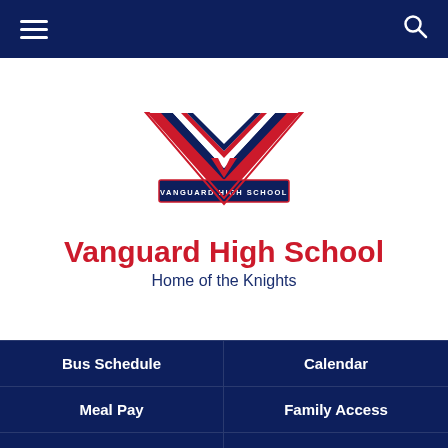Navigation bar with hamburger menu and search icon
[Figure (logo): Vanguard High School logo: large navy blue V with red outline containing a downward arrow, with a navy banner reading VANGUARD HIGH SCHOOL]
Vanguard High School
Home of the Knights
Bus Schedule
Calendar
Meal Pay
Family Access
Careers
MCPS Desktop